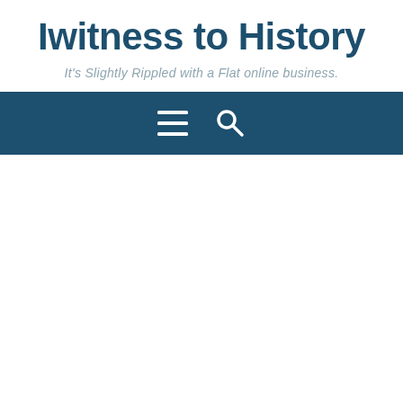Iwitness to History
It's Slightly Rippled with a Flat online business.
[Figure (screenshot): Navigation bar with dark teal background containing a hamburger menu icon and a search magnifying glass icon, centered horizontally.]